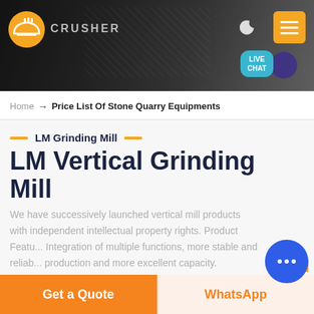[Figure (screenshot): Website header banner with dark rocky background, company logo (orange helmet icon), navigation icons (moon, hamburger menu in orange), and a LIVE CHAT bubble in teal]
Home → Price List Of Stone Quarry Equipments
LM Grinding Mill
LM Vertical Grinding Mill
We have successively launched vertical mill products with independent intellectual property rights. Product Featu... Integration of multiple functions, more stable and reliab... production and more excellent capacity.